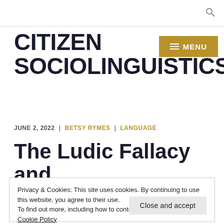🔍
CITIZEN SOCIOLINGUISTICS
≡ MENU
JUNE 2, 2022  |  BETSY RYMES  |  LANGUAGE
The Ludic Fallacy and
Privacy & Cookies: This site uses cookies. By continuing to use this website, you agree to their use.
To find out more, including how to control cookies, see here: Cookie Policy
Close and accept